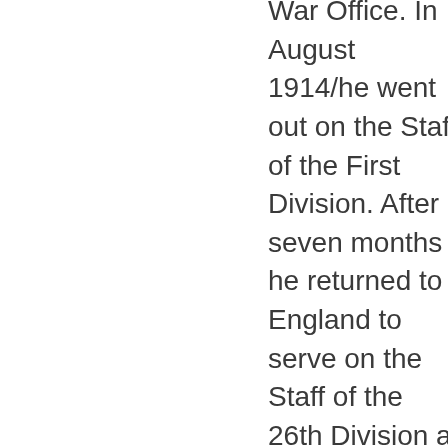War Office. In August 1914/he went out on the Staff of the First Division. After seven months he returned to England to serve on the Staff of the 26th Division at Warminster until July 1915, when he went out to command the 2nd Battalion Warwickshire Regiment. He was made Brevet Major in the King's Birthday Honours List, 1915; Major 8 August and Lieutenant Colonel 1